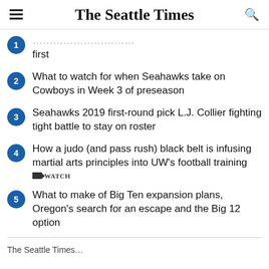The Seattle Times
first
What to watch for when Seahawks take on Cowboys in Week 3 of preseason
Seahawks 2019 first-round pick L.J. Collier fighting tight battle to stay on roster
How a judo (and pass rush) black belt is infusing martial arts principles into UW's football training [WATCH]
What to make of Big Ten expansion plans, Oregon's search for an escape and the Big 12 option
The Seattle Times...